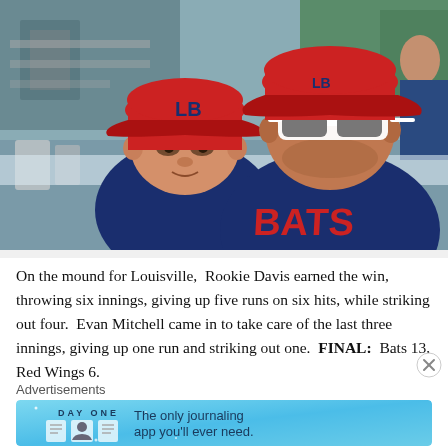[Figure (photo): A boy and a man wearing Louisville Bats baseball gear (red caps with LB logo, navy blue Bats jerseys). The man is wearing white-framed sunglasses. They are seated at what appears to be a baseball stadium concession area.]
On the mound for Louisville,  Rookie Davis earned the win, throwing six innings, giving up five runs on six hits, while striking out four.  Evan Mitchell came in to take care of the last three innings, giving up one run and striking out one.  FINAL:  Bats 13, Red Wings 6.
Advertisements
[Figure (screenshot): Advertisement banner for Day One journaling app with text: The only journaling app you'll ever need.]